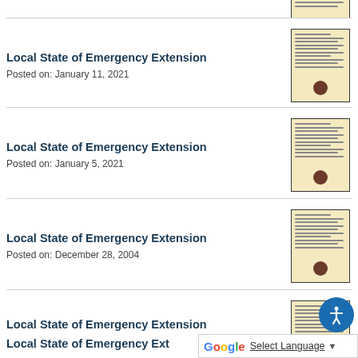[Figure (other): Partial thumbnail of a document at the top right corner]
Local State of Emergency Extension
Posted on: January 11, 2021
Local State of Emergency Extension
Posted on: January 5, 2021
Local State of Emergency Extension
Posted on: December 28, 2004
Local State of Emergency Extension
Posted on: December 18, 2004
Local State of Emergency Ext…